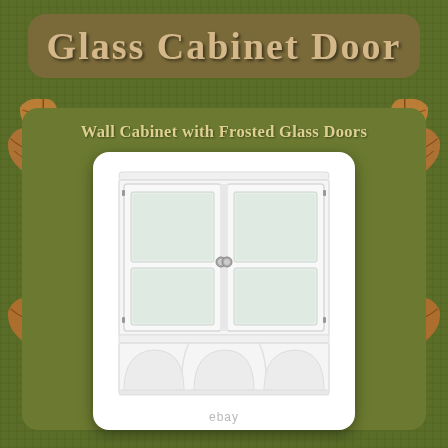Glass Cabinet Door
Wall Cabinet with Frosted Glass Doors
[Figure (photo): White wall cabinet with two frosted glass panel doors on top section and three open cubbies on the bottom. Cabinet is white wood with chrome knobs, photographed against white background.]
ebay